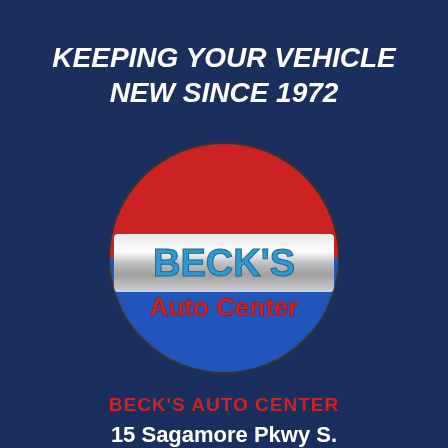KEEPING YOUR VEHICLE NEW SINCE 1972
[Figure (logo): Beck's Auto Center circular logo with red top half, blue bottom half, silver metallic banner with BECK'S in blue metallic letters, Auto Center in red letters below]
BECK'S AUTO CENTER
15 Sagamore Pkwy S.
Lafayette, IN 47905